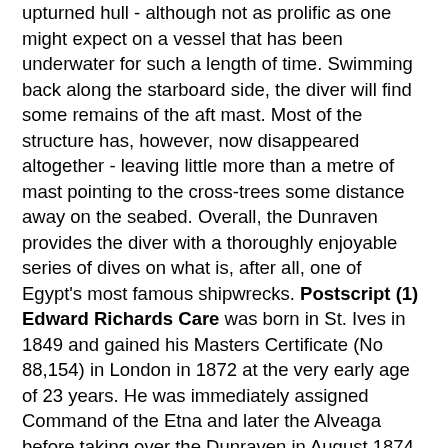upturned hull - although not as prolific as one might expect on a vessel that has been underwater for such a length of time. Swimming back along the starboard side, the diver will find some remains of the aft mast. Most of the structure has, however, now disappeared altogether - leaving little more than a metre of mast pointing to the cross-trees some distance away on the seabed. Overall, the Dunraven provides the diver with a thoroughly enjoyable series of dives on what is, after all, one of Egypt's most famous shipwrecks. Postscript (1) Edward Richards Care was born in St. Ives in 1849 and gained his Masters Certificate (No 88,154) in London in 1872 at the very early age of 23 years. He was immediately assigned Command of the Etna and later the Alveaga before taking over the Dunraven in August 1874. After the loss of the Dunraven, it was not until 1877 that he returned to sea as a Captain - once again in command of the Etna. He then went on to complete a full career as a Master Mariner. Postscript (2) After the Sinai withdrawal Howard Rosenstein had to pack up his lifes work and move on. Although the Egyptian authorities did actually ask him to stay (and even gave him a contract which he still has to this day), he realised his position would eventually become untenable. Initially,